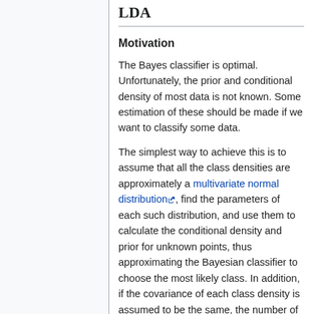LDA
Motivation
The Bayes classifier is optimal. Unfortunately, the prior and conditional density of most data is not known. Some estimation of these should be made if we want to classify some data.
The simplest way to achieve this is to assume that all the class densities are approximately a multivariate normal distribution, find the parameters of each such distribution, and use them to calculate the conditional density and prior for unknown points, thus approximating the Bayesian classifier to choose the most likely class. In addition, if the covariance of each class density is assumed to be the same, the number of unknown parameters is reduced and the